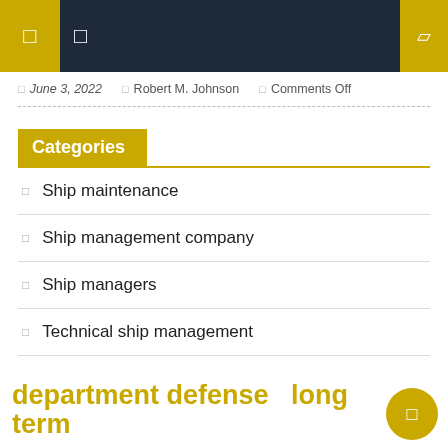June 3, 2022  Robert M. Johnson  Comments Off
Categories
Ship maintenance
Ship management company
Ship managers
Technical ship management
department defense  long term